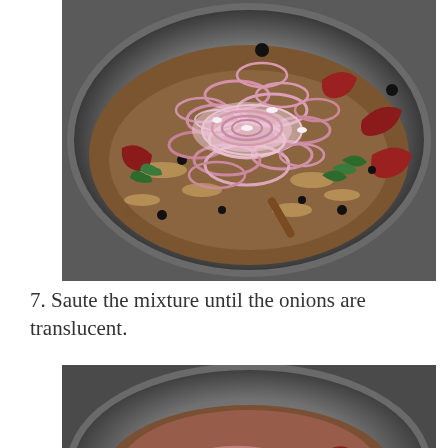[Figure (photo): Top-down view of a metal wok/pan containing sliced red onion rings piled in the center, surrounded by spices, dried red chilies, green curry leaves, and other ingredients.]
7. Saute the mixture until the onions are translucent.
[Figure (photo): Top-down view of a metal wok/pan showing the mixture after sauteing — onions are now wilted and translucent/pinkish-brown, mixed with dried red chilies, green curry leaves, and spices.]